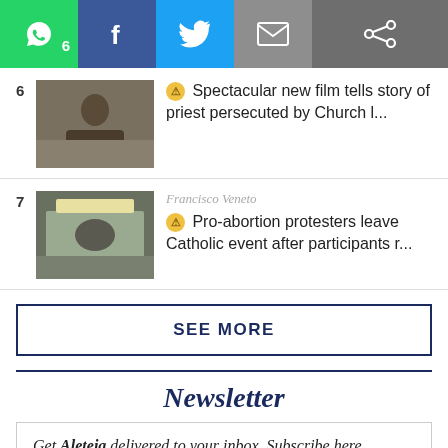[Figure (screenshot): Social sharing bar with WhatsApp (count 6), Facebook, Twitter, Email, and Share buttons]
[Figure (photo): Thumbnail image of a man in dark clothing outdoors, article item 6]
Spectacular new film tells story of priest persecuted by Church l...
Francisco Veneto
[Figure (photo): Thumbnail image of people at an indoor event with lights, article item 7]
Pro-abortion protesters leave Catholic event after participants r...
SEE MORE
Newsletter
Get Aleteia delivered to your inbox. Subscribe here.
Your email